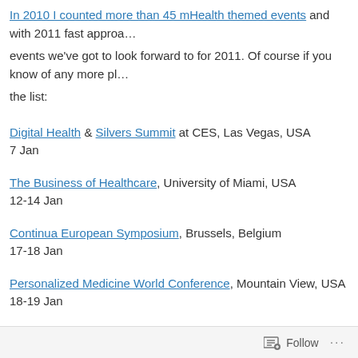In 2010 I counted more than 45 mHealth themed events and with 2011 fast approa... events we've got to look forward to for 2011. Of course if you know of any more pl... the list:
Digital Health & Silvers Summit at CES, Las Vegas, USA
7 Jan
The Business of Healthcare, University of Miami, USA
12-14 Jan
Continua European Symposium, Brussels, Belgium
17-18 Jan
Personalized Medicine World Conference, Mountain View, USA
18-19 Jan
Mobile Health Summit, Toronto, Canada
Follow ...